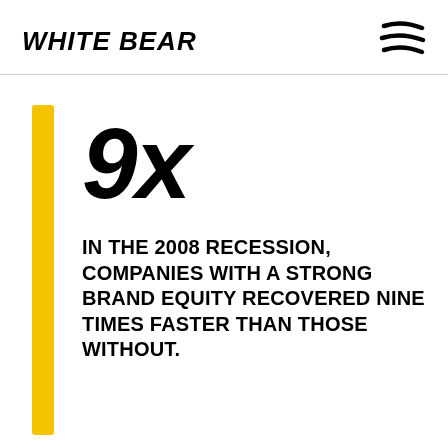WHITE BEAR
9x
IN THE 2008 RECESSION, COMPANIES WITH A STRONG BRAND EQUITY RECOVERED NINE TIMES FASTER THAN THOSE WITHOUT.